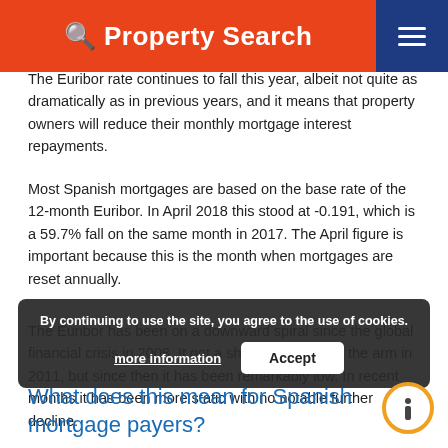Property Search
The Euribor rate continues to fall this year, albeit not quite as dramatically as in previous years, and it means that property owners will reduce their monthly mortgage interest repayments.
Most Spanish mortgages are based on the base rate of the 12-month Euribor. In April 2018 this stood at -0.191, which is a 59.7% fall on the same month in 2017. The April figure is important because this is the month when mortgages are reset annually.
The Euribor has been on a downward spiral since the global financial crisis in 2008. It got a short-lived, shot in the arm in 2011, but since then it has been remarkably low. In recent months it has been more static with no notable further decline.
By continuing to use the site, you agree to the use of cookies.
What does this mean for Spanish mortgage payers?